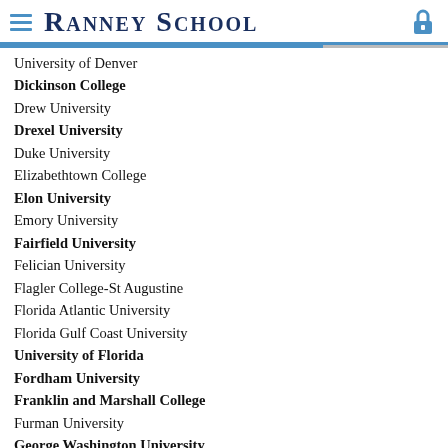Ranney School
University of Denver
Dickinson College
Drew University
Drexel University
Duke University
Elizabethtown College
Elon University
Emory University
Fairfield University
Felician University
Flagler College-St Augustine
Florida Atlantic University
Florida Gulf Coast University
University of Florida
Fordham University
Franklin and Marshall College
Furman University
George Washington University
Georgetown University
Georgia Institute of Technology-Main Campus
University of Georgia
Georgian Court University